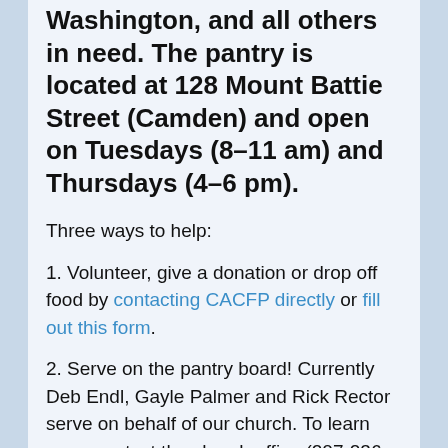Washington, and all others in need. The pantry is located at 128 Mount Battie Street (Camden) and open on Tuesdays (8–11 am) and Thursdays (4–6 pm).
Three ways to help:
1. Volunteer, give a donation or drop off food by contacting CACFP directly or fill out this form.
2. Serve on the pantry board! Currently Deb Endl, Gayle Palmer and Rick Rector serve on behalf of our church. To learn more contact the church office (207-236-4821).
3. Make a food donation to our very own